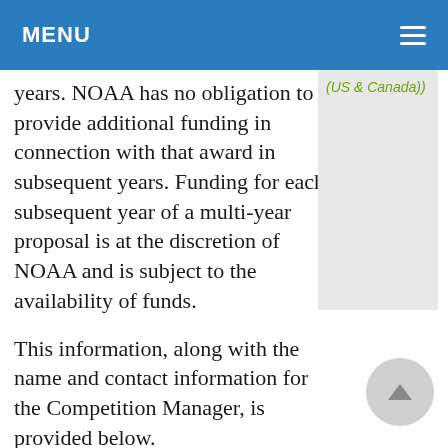MENU
years. NOAA has no obligation to provide additional funding in connection with that award in subsequent years. Funding for each subsequent year of a multi-year proposal is at the discretion of NOAA and is subject to the availability of funds.
This information, along with the name and contact information for the Competition Manager, is provided below.
Competition